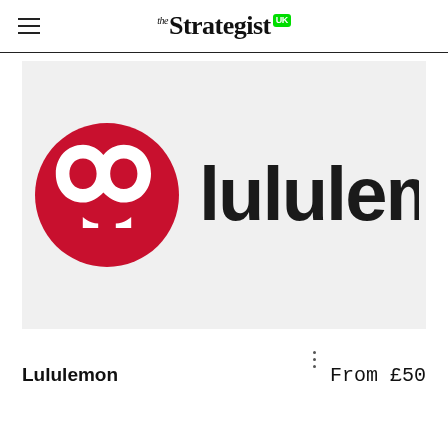the Strategist UK
[Figure (logo): Lululemon brand logo: red circle with white omega/wave symbol on the left, and 'lululemon' in large black sans-serif text on the right, on a light grey background]
Lululemon
From £50